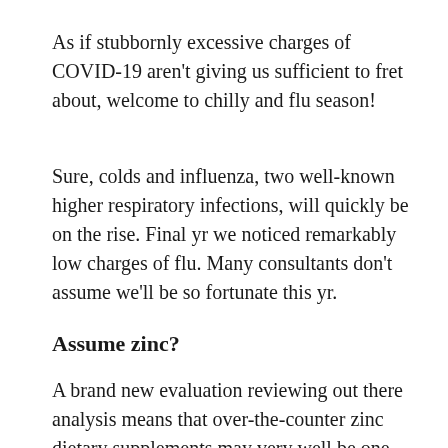As if stubbornly excessive charges of COVID-19 aren't giving us sufficient to fret about, welcome to chilly and flu season!
Sure, colds and influenza, two well-known higher respiratory infections, will quickly be on the rise. Final yr we noticed remarkably low charges of flu. Many consultants don't assume we'll be so fortunate this yr.
Assume zinc?
A brand new evaluation reviewing out there analysis means that over-the-counter zinc dietary supplements may very well be one